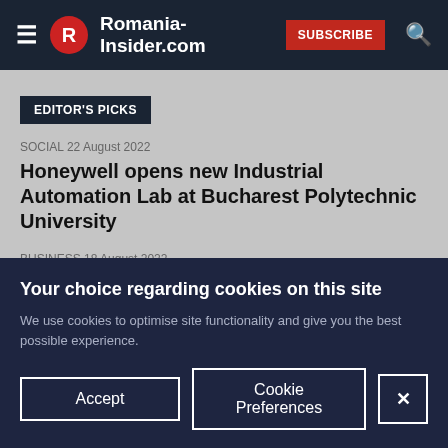Romania-Insider.com | SUBSCRIBE
EDITOR'S PICKS
SOCIAL 22 August 2022
Honeywell opens new Industrial Automation Lab at Bucharest Polytechnic University
BUSINESS 18 August 2022
Revolut launches consumer loans in Romania
Your choice regarding cookies on this site
We use cookies to optimise site functionality and give you the best possible experience.
Accept
Cookie Preferences